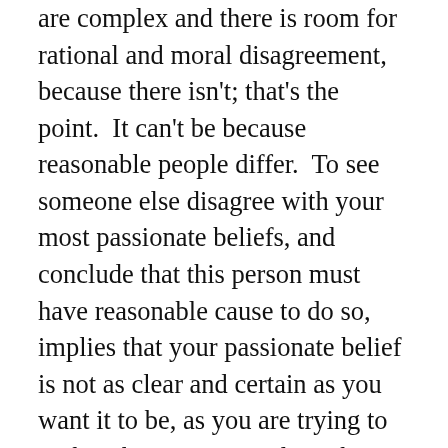are complex and there is room for rational and moral disagreement, because there isn't; that's the point. It can't be because reasonable people differ. To see someone else disagree with your most passionate beliefs, and conclude that this person must have reasonable cause to do so, implies that your passionate belief is not as clear and certain as you want it to be, as you are trying to make it be, as you need it to be. Splitting thus involves an inability to truly step inside the worldview of another and see what might be valid reasons for their conclusions. You cannot see other's complexity, because, simply, it makes the whole world too threatening. This explains the cartoon quality that characterizes the worldviews of religious extremists – their worlds are filled with Heroes and Villains – Villains who must be defeated, because they are enemies of the Good. Someone who has, with certainty, banished all complexity from the Cosmic Order can see